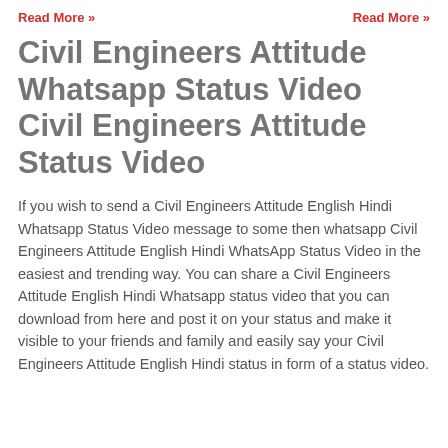Read More »   Read More »
Civil Engineers Attitude Whatsapp Status Video Civil Engineers Attitude Status Video
If you wish to send a Civil Engineers Attitude English Hindi Whatsapp Status Video message to some then whatsapp Civil Engineers Attitude English Hindi WhatsApp Status Video in the easiest and trending way. You can share a Civil Engineers Attitude English Hindi Whatsapp status video that you can download from here and post it on your status and make it visible to your friends and family and easily say your Civil Engineers Attitude English Hindi status in form of a status video.